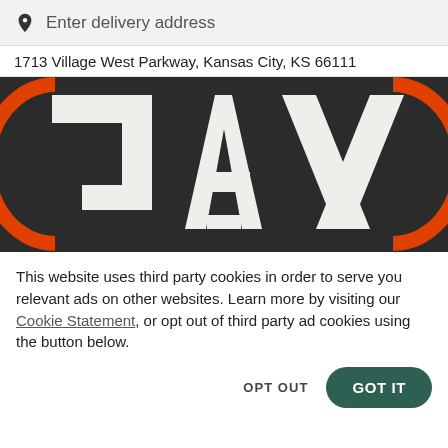Enter delivery address
1713 Village West Parkway, Kansas City, KS 66111
[Figure (logo): JAX logo: bold white letters J, A, X on a dark charcoal background with orange circular border trim visible on left and right edges]
This website uses third party cookies in order to serve you relevant ads on other websites. Learn more by visiting our Cookie Statement, or opt out of third party ad cookies using the button below.
OPT OUT
GOT IT